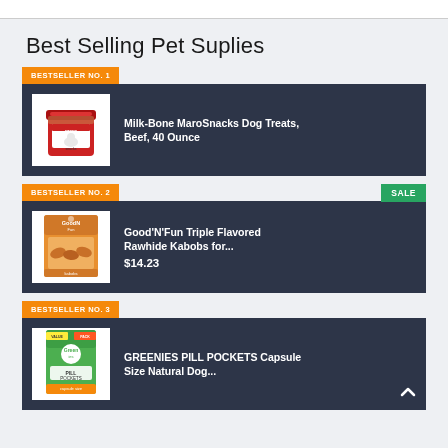Best Selling Pet Suplies
BESTSELLER NO. 1
[Figure (photo): Milk-Bone MaroSnacks dog treats red canister]
Milk-Bone MaroSnacks Dog Treats, Beef, 40 Ounce
BESTSELLER NO. 2
SALE
[Figure (photo): Good'N'Fun Triple Flavored Rawhide Kabobs orange package]
Good'N'Fun Triple Flavored Rawhide Kabobs for...
$14.23
BESTSELLER NO. 3
[Figure (photo): GREENIES PILL POCKETS Capsule Size Natural Dog treats green package]
GREENIES PILL POCKETS Capsule Size Natural Dog...